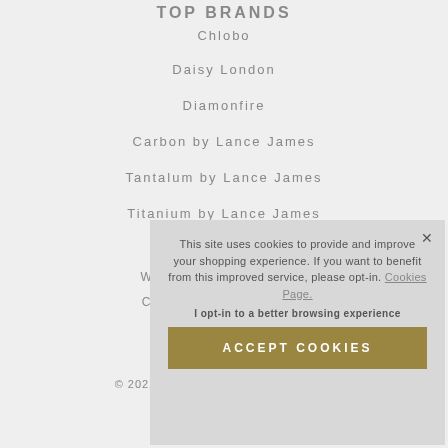TOP BRANDS
Chlobo
Daisy London
Diamonfire
Carbon by Lance James
Tantalum by Lance James
Titanium by Lance James
Web...
Che...
© 2022 Lance...
This site uses cookies to provide and improve your shopping experience. If you want to benefit from this improved service, please opt-in. Cookies Page.

I opt-in to a better browsing experience

ACCEPT COOKIES